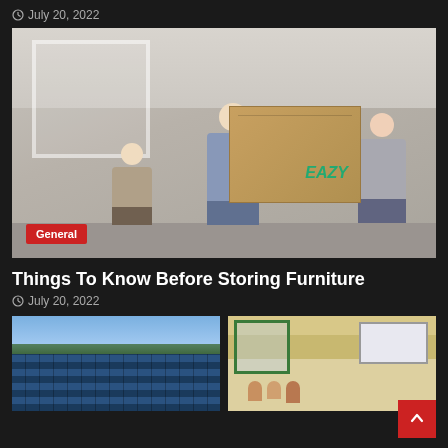July 20, 2022
[Figure (photo): Family with moving boxes labeled EAZY, with a man and woman carrying a box and a child nearby, indoors near white house structure]
General
Things To Know Before Storing Furniture
July 20, 2022
[Figure (photo): Solar panel field with blue sky in background]
[Figure (photo): Classroom with students seated at desks, green-framed windows on the left, whiteboards on the right]